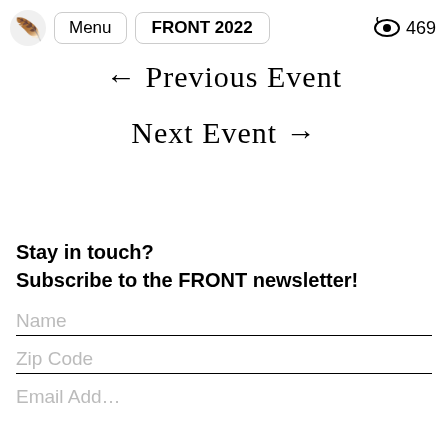Menu  FRONT 2022  469
← Previous Event
Next Event →
Stay in touch?
Subscribe to the FRONT newsletter!
Name
Zip Code
Email Address